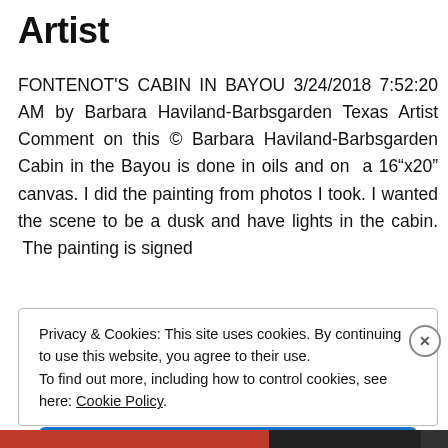Artist
FONTENOT'S CABIN IN BAYOU 3/24/2018 7:52:20 AM by Barbara Haviland-Barbsgarden Texas Artist Comment on this © Barbara Haviland-Barbsgarden Cabin in the Bayou is done in oils and on  a 16“x20” canvas. I did the painting from photos I took. I wanted the scene to be a dusk and have lights in the cabin.  The painting is signed
Privacy & Cookies: This site uses cookies. By continuing to use this website, you agree to their use.
To find out more, including how to control cookies, see here: Cookie Policy
Close and accept